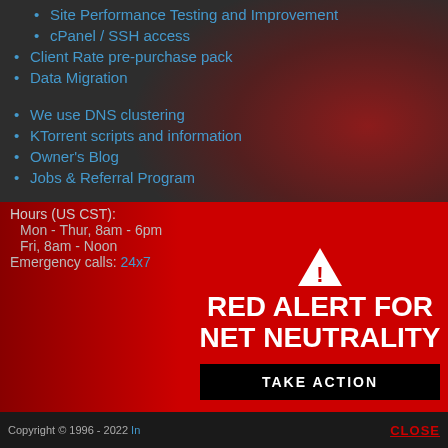Site Performance Testing and Improvement
cPanel / SSH access
Client Rate pre-purchase pack
Data Migration
We use DNS clustering
KTorrent scripts and information
Owner's Blog
Jobs & Referral Program
Hours (US CST):
 Mon - Thur, 8am - 6pm
 Fri, 8am - Noon
Emergency calls: 24x7
[Figure (infographic): Red alert banner with warning triangle icon, text 'RED ALERT FOR NET NEUTRALITY' in white bold uppercase, and a 'TAKE ACTION' black button below]
Copyright © 1996 - 2022 In     CLOSE